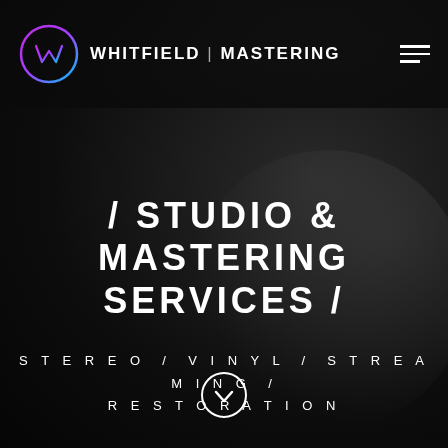WHITFIELD | MASTERING
/ STUDIO & MASTERING SERVICES /
STEREO / VINYL / STREAMING / RESTORATION
[Figure (illustration): Down arrow button inside a circle at the bottom center of the page]